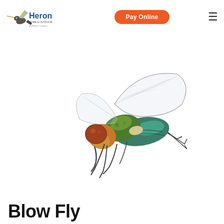Pay Online | Heron Home & Outdoors | Menu
[Figure (photo): Close-up macro photograph of a green blow fly (Calliphoridae) on a white background, showing large reddish-brown compound eyes, metallic green thorax and abdomen, translucent wings, and dark spindly legs.]
Blow Fly